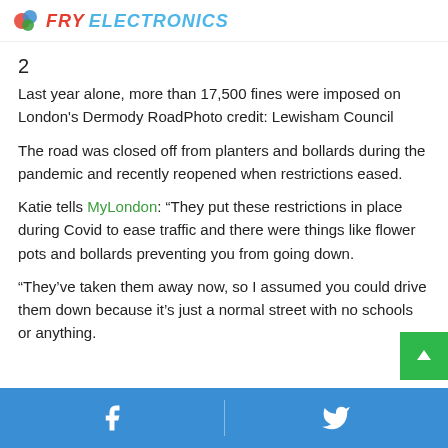FRY ELECTRONICS
2
Last year alone, more than 17,500 fines were imposed on London's Dermody RoadPhoto credit: Lewisham Council
The road was closed off from planters and bollards during the pandemic and recently reopened when restrictions eased.
Katie tells MyLondon: “They put these restrictions in place during Covid to ease traffic and there were things like flower pots and bollards preventing you from going down.
“They’ve taken them away now, so I assumed you could drive them down because it’s just a normal street with no schools or anything.
Facebook | Twitter